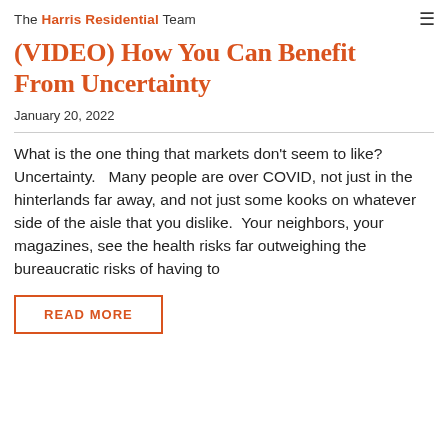The Harris Residential Team
(VIDEO) How You Can Benefit From Uncertainty
January 20, 2022
What is the one thing that markets don't seem to like? Uncertainty.   Many people are over COVID, not just in the hinterlands far away, and not just some kooks on whatever side of the aisle that you dislike.  Your neighbors, your magazines, see the health risks far outweighing the bureaucratic risks of having to
READ MORE